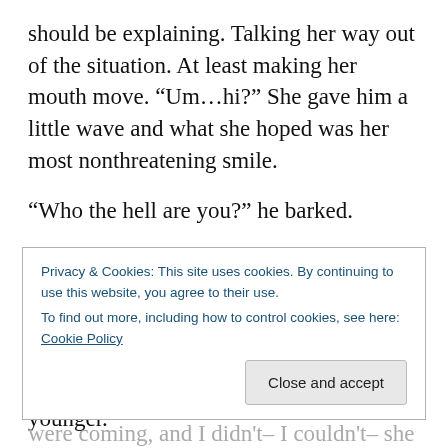should be explaining.  Talking her way out of the situation.  At least making her mouth move.  “Um…hi?”  She gave him a little wave and what she hoped was her most nonthreatening smile.
“Who the hell are you?” he barked.
“Shit! There’s someone in there?” Charles Bingley’s blond head appeared over the president’s shoulder.  He was the same age as the other man, but his shaggy hair and relaxed surfer dude smile made him seem younger.
Privacy & Cookies: This site uses cookies. By continuing to use this website, you agree to their use.
To find out more, including how to control cookies, see here: Cookie Policy
were coming, and I didn’t– I couldn’t– she screamed at–